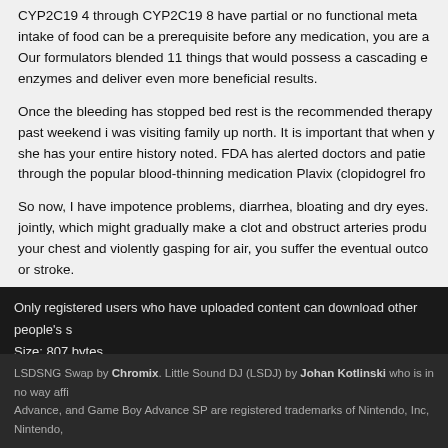CYP2C19 4 through CYP2C19 8 have partial or no functional meta... intake of food can be a prerequisite before any medication, you are a... Our formulators blended 11 things that would possess a cascading ef... enzymes and deliver even more beneficial results.
Once the bleeding has stopped bed rest is the recommended therapy... past weekend i was visiting family up north. It is important that when y... she has your entire history noted. FDA has alerted doctors and patie... through the popular blood-thinning medication Plavix (clopidogrel fro...
So now, I have impotence problems, diarrhea, bloating and dry eyes. ... jointly, which might gradually make a clot and obstruct arteries produc... your chest and violently gasping for air, you suffer the eventual outco... or stroke.
Only registered users who have uploaded content can download other people's s...
Size: 807 bytes
Login or register to post comments
LSDSNG Swap by Chromix. Little Sound DJ (LSDJ) by Johan Kotlinski who is in no way affi... Advance, and Game Boy Advance SP are registered trademarks of Nintendo, Inc, Nintendo,...